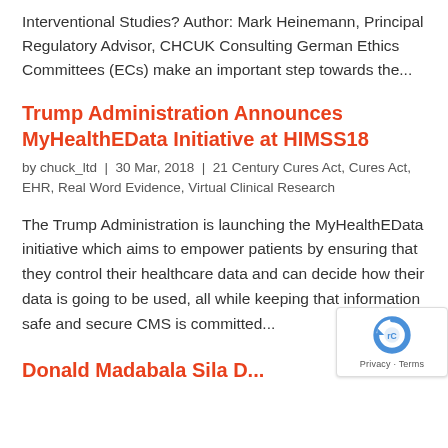Interventional Studies? Author: Mark Heinemann, Principal Regulatory Advisor, CHCUK Consulting German Ethics Committees (ECs) make an important step towards the...
Trump Administration Announces MyHealthEData Initiative at HIMSS18
by chuck_ltd | 30 Mar, 2018 | 21 Century Cures Act, Cures Act, EHR, Real Word Evidence, Virtual Clinical Research
The Trump Administration is launching the MyHealthEData initiative which aims to empower patients by ensuring that they control their healthcare data and can decide how their data is going to be used, all while keeping that information safe and secure CMS is committed...
Donald Madabala Sila D...